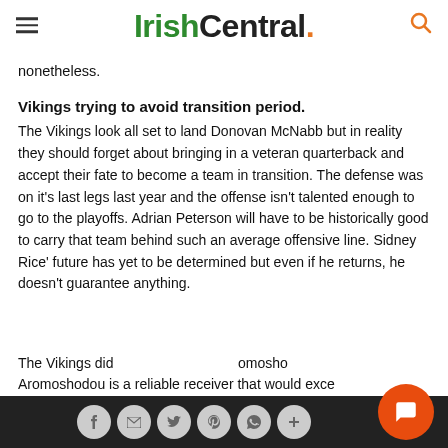IrishCentral.
nonetheless.
Vikings trying to avoid transition period.
The Vikings look all set to land Donovan McNabb but in reality they should forget about bringing in a veteran quarterback and accept their fate to become a team in transition. The defense was on it's last legs last year and the offense isn't talented enough to go to the playoffs. Adrian Peterson will have to be historically good to carry that team behind such an average offensive line. Sidney Rice' future has yet to be determined but even if he returns, he doesn't guarantee anything.
The Vikings did a move Dji omosho Aromoshodou is a reliable receiver that would exce...